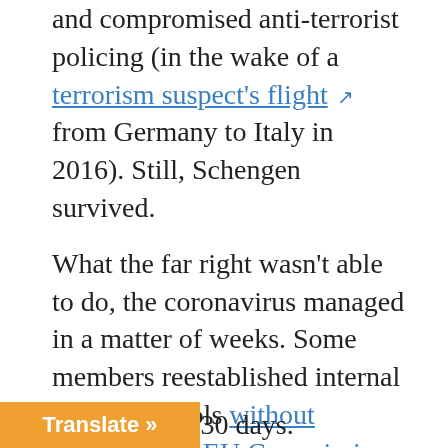and compromised anti-terrorist policing (in the wake of a terrorism suspect's flight from Germany to Italy in 2016). Still, Schengen survived.
What the far right wasn't able to do, the coronavirus managed in a matter of weeks. Some members reestablished internal border controls without notifying the EU Commission , as required by the Schengen Border Code. These moves prompted the EU to declare last week that all internal borders should be closed for 30 days.